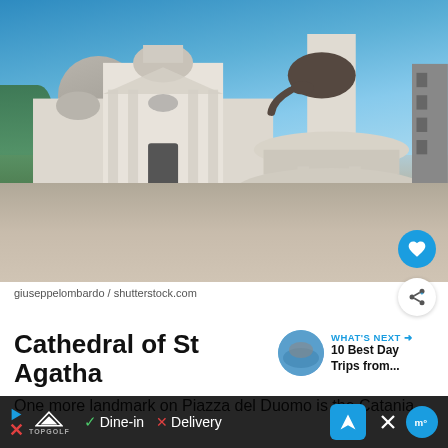[Figure (photo): Cathedral of St Agatha and elephant fountain at Piazza del Duomo, Catania, Sicily. Blue sky background, baroque cathedral facade on the left, large ornate marble elephant fountain in the foreground right. Stone plaza in the foreground.]
giuseppelombardo / shutterstock.com
Cathedral of St Agatha
WHAT'S NEXT → 10 Best Day Trips from...
One more landmark on Piazza del Duomo is the Catania